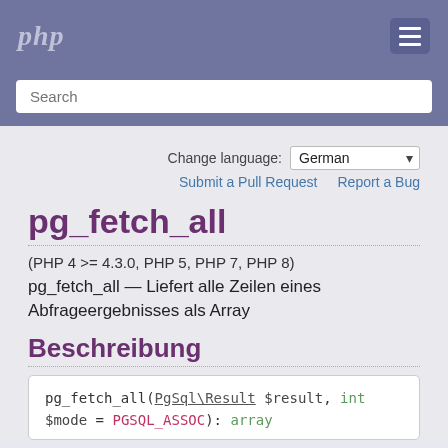php
Search
Change language: German
Submit a Pull Request   Report a Bug
pg_fetch_all
(PHP 4 >= 4.3.0, PHP 5, PHP 7, PHP 8)
pg_fetch_all — Liefert alle Zeilen eines Abfrageergebnisses als Array
Beschreibung
pg_fetch_all(PgSql\Result $result, int $mode = PGSQL_ASSOC): array